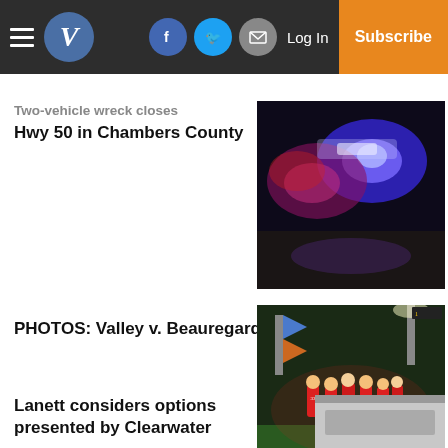V | Log In | Subscribe
Two-vehicle wreck closes Hwy 50 in Chambers County
[Figure (photo): Police car lights, blue and red flashing lights at night]
PHOTOS: Valley v. Beauregard
[Figure (photo): Football team in red uniforms running onto the field]
Lanett considers options presented by Clearwater
[Figure (photo): Partially visible image at bottom right]